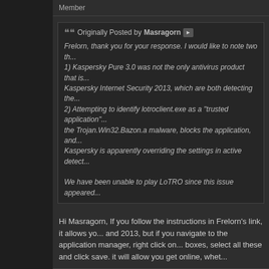Member
Originally Posted by Masragorn
Frelorn, thank you for your response. I would like to note two th... 1) Kaspersky Pure 3.0 was not the only antivirus product that is... Kaspersky Internet Security 2013, which are both detecting the... 2) Attempting to identify lotroclient.exe as a "trusted application"... the Trojan.Win32.Bazon.a malware, blocks the application, and... Kaspersky is apparently overriding the settings in active detect...

We have been unable to play LoTRO since this issue appeared...
Hi Masragorn, If you follow the instructions in Frelorn's link, it allows yo... and 2013, but if you navigate to the application manager, right click on... boxes, select all these and click save. it will allow you get online, whet...
Feb 18 2015,   06:10 PM
Amrundir
The Sociable